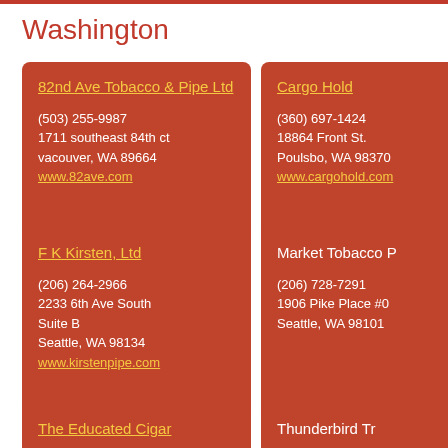Washington
82nd Ave Tobacco & Pipe Ltd
(503) 255-9987
1711 southeast 84th ct
vacouver, WA 89664
www.82ave.com
Cargo Hold
(360) 697-1424
18864 Front St.
Poulsbo, WA 98370
www.cargohold.com
F K Kirsten, Ltd
(206) 264-2966
2233 6th Ave South
Suite B
Seattle, WA 98134
www.kirstenpipe.com
Market Tobacco P
(206) 728-7291
1906 Pike Place #0
Seattle, WA 98101
The Educated Cigar
Thunderbird Tr